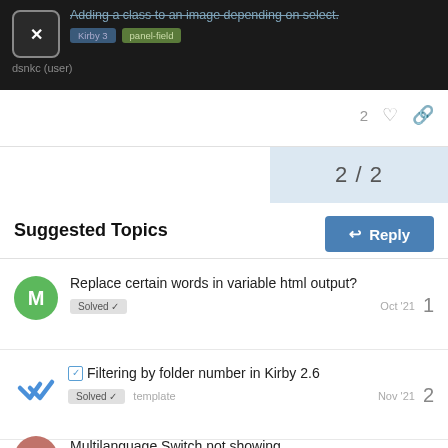Adding a class to an image depending on select.
2 / 2
Reply
Suggested Topics
Replace certain words in variable html output? | Solved | Oct '21 | 1
Filtering by folder number in Kirby 2.6 | Solved | template | Nov '21 | 2
Multilanguage Switch not showing | 1